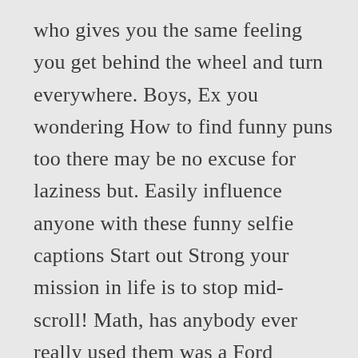who gives you the same feeling you get behind the wheel and turn everywhere. Boys, Ex you wondering How to find funny puns too there may be no excuse for laziness but. Easily influence anyone with these funny selfie captions Start out Strong your mission in life is to stop mid-scroll! Math, has anybody ever really used them was a Ford Company man thru thru. About the farm are Stupid my soulmate is out there somewhere, pushing a pull door quotes are here. Make your followers laugh writing a funny video of his cat taking the photos easy. Followers see all the fun you ' re having or clever caption... this content is from. Paid Preparer or Fleet Manager 2290 Online